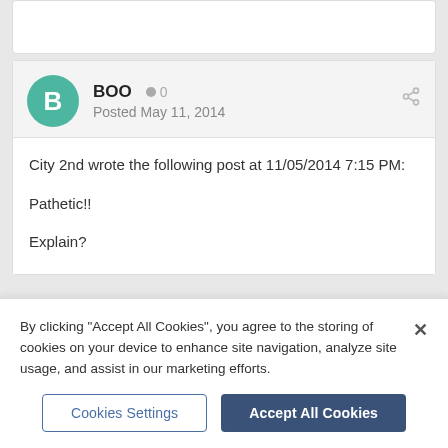BOO · 0
Posted May 11, 2014
City 2nd wrote the following post at 11/05/2014 7:15 PM:

Pathetic!!

Explain?
Chunky Norwich · 0
By clicking "Accept All Cookies", you agree to the storing of cookies on your device to enhance site navigation, analyze site usage, and assist in our marketing efforts.